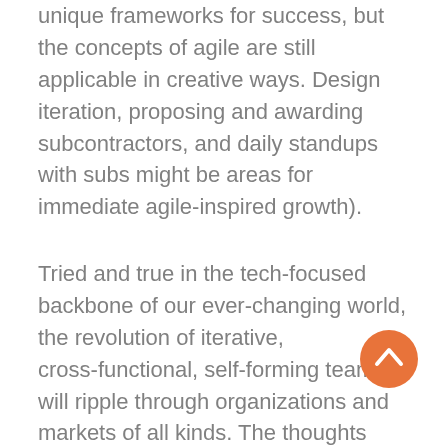unique frameworks for success, but the concepts of agile are still applicable in creative ways. Design iteration, proposing and awarding subcontractors, and daily standups with subs might be areas for immediate agile-inspired growth).
Tried and true in the tech-focused backbone of our ever-changing world, the revolution of iterative, cross-functional, self-forming teams will ripple through organizations and markets of all kinds. The thoughts below are intended to give you a leg-up in this revolution, to find yourself ahead of the curve in the battle for better business.
[Figure (other): Orange circular scroll-to-top button with an upward-pointing chevron arrow icon]